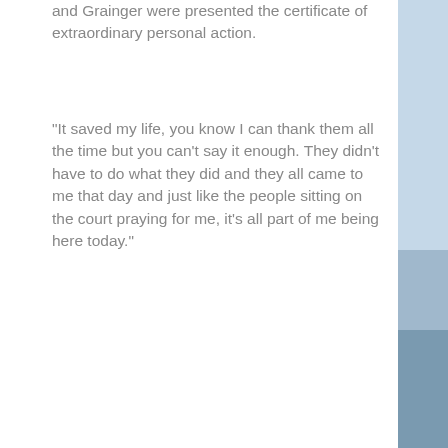and Grainger were presented the certificate of extraordinary personal action.
“It saved my life, you know I can thank them all the time but you can’t say it enough. They didn’t have to do what they did and they all came to me that day and just like the people sitting on the court praying for me, it’s all part of me being here today.”
Copyright 2020 WECT. All rights reserved.
FILED UNDER: LOCAL HEADLINES, UNSUNG HEROES
[Figure (infographic): Hendrick automotive advertisement: OVER 400,000 5 STAR REVIEWS. Experience the Hendrick Difference.]